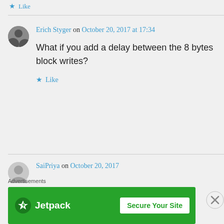Like
Erich Styger on October 20, 2017 at 17:34
What if you add a delay between the 8 bytes block writes?
Like
SaiPriya on October 20, 2017
Advertisements
[Figure (other): Jetpack advertisement banner with green background, Jetpack logo and lightning bolt icon on left, 'Secure Your Site' button on right]